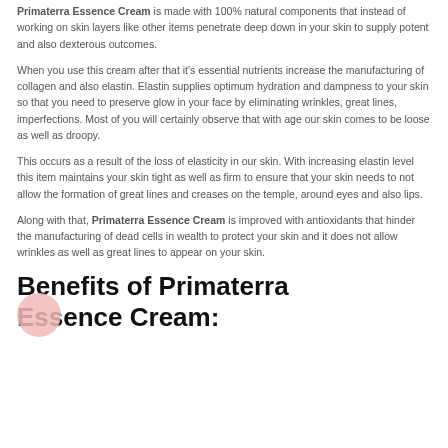Primaterra Essence Cream is made with 100% natural components that instead of working on skin layers like other items penetrate deep down in your skin to supply potent and also dexterous outcomes.
When you use this cream after that it's essential nutrients increase the manufacturing of collagen and also elastin. Elastin supplies optimum hydration and dampness to your skin so that you need to preserve glow in your face by eliminating wrinkles, great lines, imperfections. Most of you will certainly observe that with age our skin comes to be loose as well as droopy.
This occurs as a result of the loss of elasticity in our skin. With increasing elastin level this item maintains your skin tight as well as firm to ensure that your skin needs to not allow the formation of great lines and creases on the temple, around eyes and also lips.
Along with that, Primaterra Essence Cream is improved with antioxidants that hinder the manufacturing of dead cells in wealth to protect your skin and it does not allow wrinkles as well as great lines to appear on your skin.
Benefits of Primaterra Essence Cream: